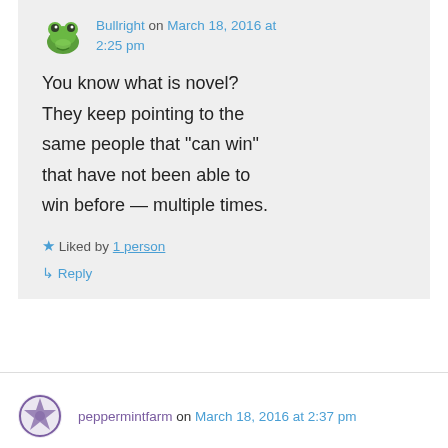Bullright on March 18, 2016 at 2:25 pm
You know what is novel? They keep pointing to the same people that “can win” that have not been able to win before — multiple times.
Liked by 1 person
Reply
peppermintfarm on March 18, 2016 at 2:37 pm
LMAO! That’s called stupid! Keep putting up